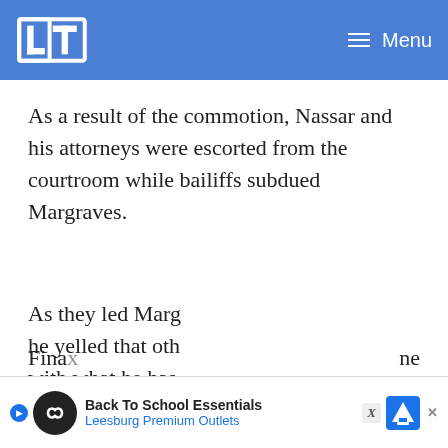[Figure (logo): LET or similar news outlet logo in white on blue header bar, with hamburger Menu button on right]
As a result of the commotion, Nassar and his attorneys were escorted from the courtroom while bailiffs subdued Margraves.
As they led Margraves out, he yelled that oth... with what he has... was directing his...
[Figure (screenshot): Video popup overlay with title 'One year later, where's the accountabili...' showing American flags background with text overlay 'KILLED IN BIDEN'S BOTCHED AFGHANISTAN WITHDRAWAL?' and mute button]
Fina... ne
[Figure (screenshot): Advertisement bar: Back To School Essentials - Leesburg Premium Outlets, with play button, logo, map icon, X close badge]